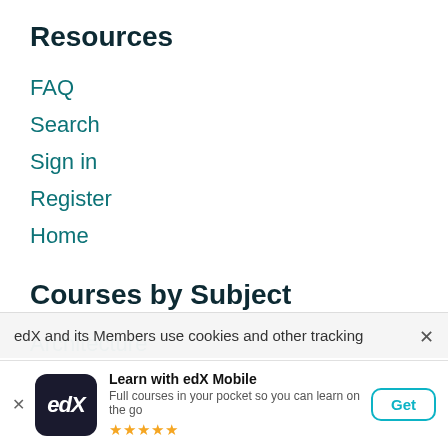Resources
FAQ
Search
Sign in
Register
Home
Courses by Subject
Architecture
Art & Culture
Biology & Life Sciences
edX and its Members use cookies and other tracking
[Figure (logo): edX logo — white italic 'edX' text on dark navy background]
Learn with edX Mobile
Full courses in your pocket so you can learn on the go
★★★★½
Get